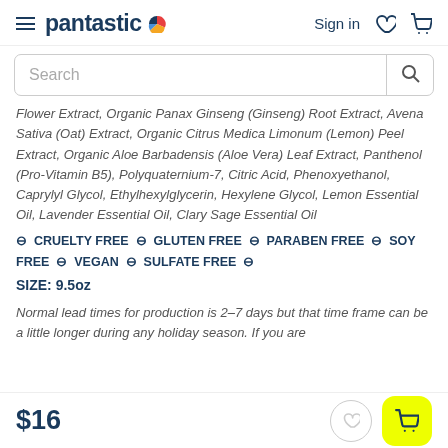pantastic | Sign in
Flower Extract, Organic Panax Ginseng (Ginseng) Root Extract, Avena Sativa (Oat) Extract, Organic Citrus Medica Limonum (Lemon) Peel Extract, Organic Aloe Barbadensis (Aloe Vera) Leaf Extract, Panthenol (Pro-Vitamin B5), Polyquaternium-7, Citric Acid, Phenoxyethanol, Caprylyl Glycol, Ethylhexylglycerin, Hexylene Glycol, Lemon Essential Oil, Lavender Essential Oil, Clary Sage Essential Oil
⊖ CRUELTY FREE ⊖ GLUTEN FREE ⊖ PARABEN FREE ⊖ SOY FREE ⊖ VEGAN ⊖ SULFATE FREE ⊖
SIZE: 9.5oz
Normal lead times for production is 2-7 days but that time frame can be a little longer during any holiday season. If you are
$16